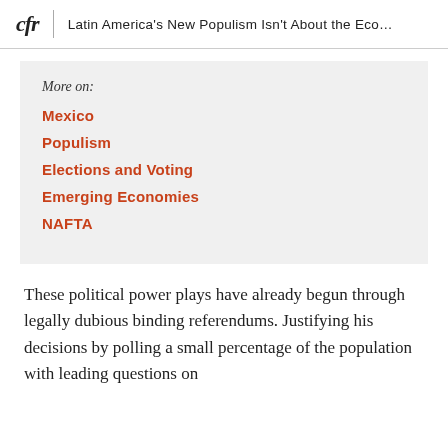cfr | Latin America's New Populism Isn't About the Eco…
More on:
Mexico
Populism
Elections and Voting
Emerging Economies
NAFTA
These political power plays have already begun through legally dubious binding referendums. Justifying his decisions by polling a small percentage of the population with leading questions on